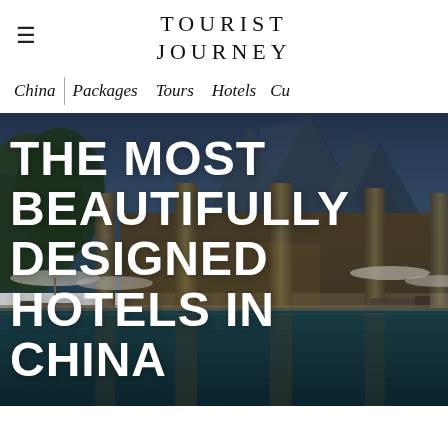TOURIST
JOURNEY
China | Packages  Tours  Hotels  Cu
[Figure (photo): Luxury hotel with reflecting pool surrounded by tall stone columns, dramatic karst mountains in the background at dusk, lounge chairs and umbrellas visible. Overlaid with large white bold text reading: THE MOST BEAUTIFULLY DESIGNED HOTELS IN CHINA]